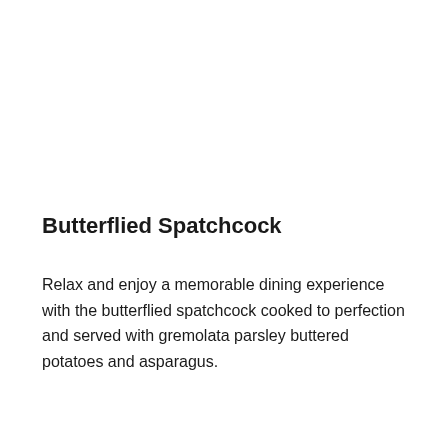Butterflied Spatchcock
Relax and enjoy a memorable dining experience with the butterflied spatchcock cooked to perfection and served with gremolata parsley buttered potatoes and asparagus.